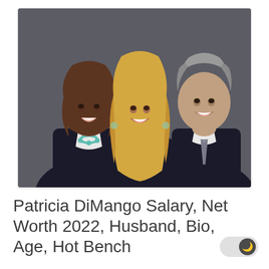[Figure (photo): Three judges in black robes posing together against a dark gray background. On the left is a Black woman with brown hair wearing a teal necklace and white collar. In the center is a blonde woman with long hair wearing gold earrings. On the right is a man with gray hair wearing a white shirt and gray tie.]
Patricia DiMango Salary, Net Worth 2022, Husband, Bio, Age, Hot Bench